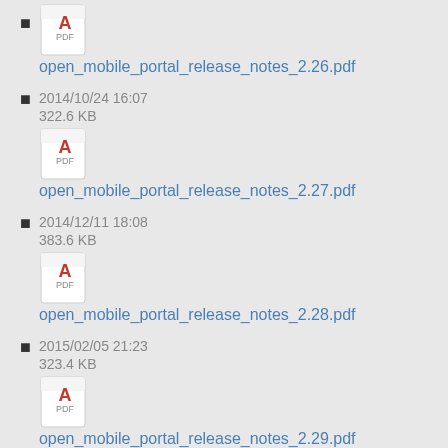open_mobile_portal_release_notes_2.26.pdf
open_mobile_portal_release_notes_2.27.pdf
2014/10/24 16:07
322.6 KB
open_mobile_portal_release_notes_2.28.pdf
2014/12/11 18:08
383.6 KB
open_mobile_portal_release_notes_2.29.pdf
2015/02/05 21:23
323.4 KB